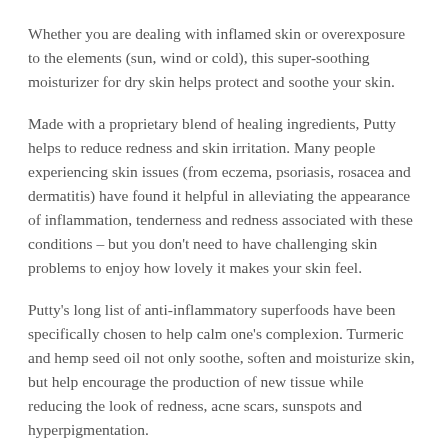Whether you are dealing with inflamed skin or overexposure to the elements (sun, wind or cold), this super-soothing moisturizer for dry skin helps protect and soothe your skin.
Made with a proprietary blend of healing ingredients, Putty helps to reduce redness and skin irritation. Many people experiencing skin issues (from eczema, psoriasis, rosacea and dermatitis) have found it helpful in alleviating the appearance of inflammation, tenderness and redness associated with these conditions – but you don't need to have challenging skin problems to enjoy how lovely it makes your skin feel.
Putty's long list of anti-inflammatory superfoods have been specifically chosen to help calm one's complexion. Turmeric and hemp seed oil not only soothe, soften and moisturize skin, but help encourage the production of new tissue while reducing the look of redness, acne scars, sunspots and hyperpigmentation.
With its natural moisturizing properties, manuka honey helps moisturize, while being a natural anti-irritant that can help